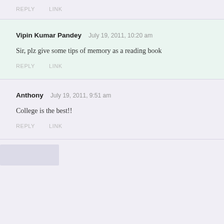REPLY   LINK
Vipin Kumar Pandey   July 19, 2011, 10:20 am
Sir, plz give some tips of memory as a reading book
REPLY   LINK
Anthony   July 19, 2011, 9:51 am
College is the best!!
REPLY   LINK